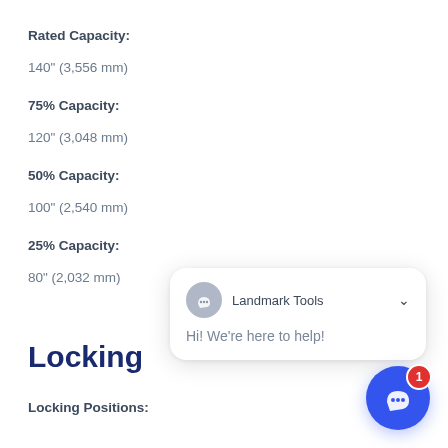Rated Capacity:
140" (3,556 mm)
75% Capacity:
120" (3,048 mm)
50% Capacity:
100" (2,540 mm)
25% Capacity:
80" (2,032 mm)
Locking
Locking Positions:
[Figure (other): Chat widget overlay showing Landmark Tools chatbot with message 'Hi! We're here to help!' and a blue chat button with badge count 1]